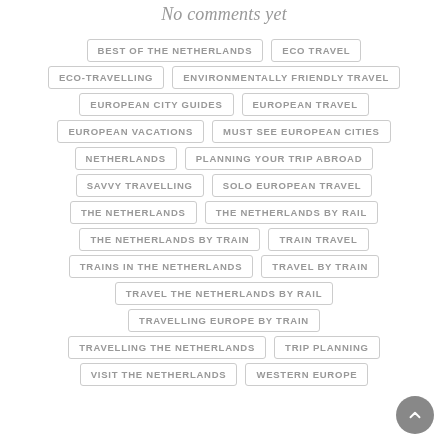No comments yet
BEST OF THE NETHERLANDS
ECO TRAVEL
ECO-TRAVELLING
ENVIRONMENTALLY FRIENDLY TRAVEL
EUROPEAN CITY GUIDES
EUROPEAN TRAVEL
EUROPEAN VACATIONS
MUST SEE EUROPEAN CITIES
NETHERLANDS
PLANNING YOUR TRIP ABROAD
SAVVY TRAVELLING
SOLO EUROPEAN TRAVEL
THE NETHERLANDS
THE NETHERLANDS BY RAIL
THE NETHERLANDS BY TRAIN
TRAIN TRAVEL
TRAINS IN THE NETHERLANDS
TRAVEL BY TRAIN
TRAVEL THE NETHERLANDS BY RAIL
TRAVELLING EUROPE BY TRAIN
TRAVELLING THE NETHERLANDS
TRIP PLANNING
VISIT THE NETHERLANDS
WESTERN EUROPE